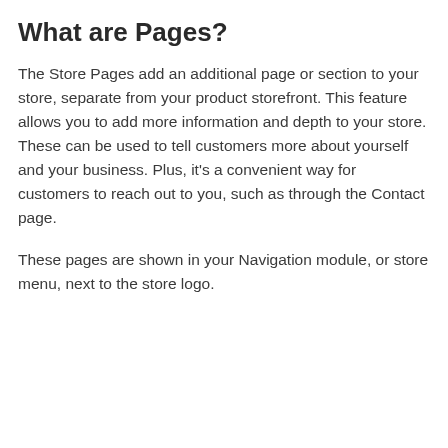What are Pages?
The Store Pages add an additional page or section to your store, separate from your product storefront. This feature allows you to add more information and depth to your store. These can be used to tell customers more about yourself and your business. Plus, it's a convenient way for customers to reach out to you, such as through the Contact page.
These pages are shown in your Navigation module, or store menu, next to the store logo.